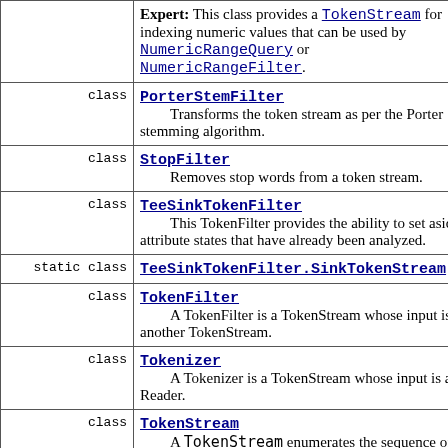| modifier | class description |
| --- | --- |
|  | Expert: This class provides a TokenStream for indexing numeric values that can be used by NumericRangeQuery or NumericRangeFilter. |
| class | PorterStemFilter
        Transforms the token stream as per the Porter stemming algorithm. |
| class | StopFilter
        Removes stop words from a token stream. |
| class | TeeSinkTokenFilter
        This TokenFilter provides the ability to set aside attribute states that have already been analyzed. |
| static class | TeeSinkTokenFilter.SinkTokenStream |
| class | TokenFilter
        A TokenFilter is a TokenStream whose input is another TokenStream. |
| class | Tokenizer
        A Tokenizer is a TokenStream whose input is a Reader. |
| class | TokenStream
        A TokenStream enumerates the sequence of tokens, either from Fields of a Document or from |